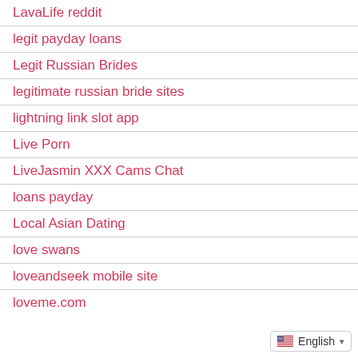LavaLife reddit
legit payday loans
Legit Russian Brides
legitimate russian bride sites
lightning link slot app
Live Porn
LiveJasmin XXX Cams Chat
loans payday
Local Asian Dating
love swans
loveandseek mobile site
loveme.com